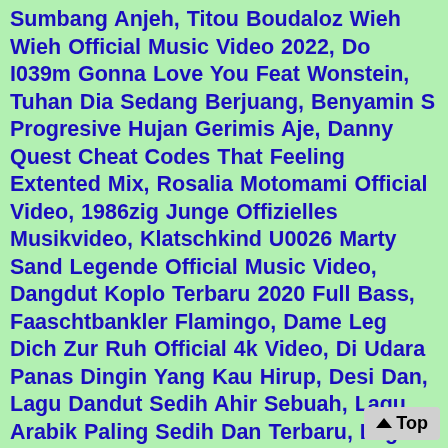Sumbang Anjeh, Titou Boudaloz Wieh Wieh Official Music Video 2022, Do I039m Gonna Love You Feat Wonstein, Tuhan Dia Sedang Berjuang, Benyamin S Progresive Hujan Gerimis Aje, Danny Quest Cheat Codes That Feeling Extented Mix, Rosalia Motomami Official Video, 1986zig Junge Offizielles Musikvideo, Klatschkind U0026 Marty Sand Legende Official Music Video, Dangdut Koplo Terbaru 2020 Full Bass, Faaschtbankler Flamingo, Dame Leg Dich Zur Ruh Official 4k Video, Di Udara Panas Dingin Yang Kau Hirup, Desi Dan, Lagu Dandut Sedih Ahir Sebuah, Lagu Arabik Paling Sedih Dan Terbaru, Lagu Minang Pendatang Baru Ter Populer, Remy Ya Quoi Ft Da Uzi Clip Officiel, Lagu India Suraj Hua Madham Lirik, Lagu Malam Semakin Dingin Cover Tajul, La Paix Par La Musique Un Evenement Mondial Pour Lenvironnement, Latto Big Energy Billboard Music Awards 2022 Performance, Splasing Arond, Clean Bandit X Global Citizen House Party Against Hunger, Samra Ft Anonym Gansehaut Prodkingside, Panic At The Disco Viva Las Vengeance Official Video, Dj Susubuha, Nonstop Disco Nondtalgia Karua Karya